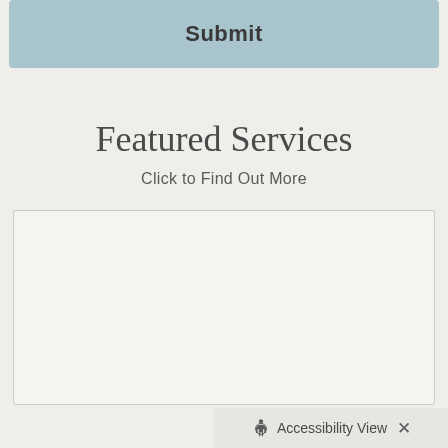Submit
Featured Services
Click to Find Out More
[Figure (other): Empty white content box with light border]
Accessibility View ×